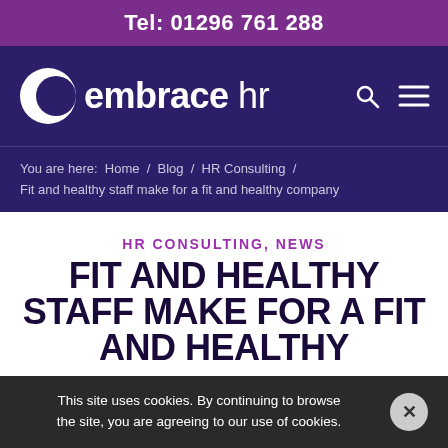Tel: 01296 761 288
[Figure (logo): Embrace HR logo with crescent moon icon on dark purple background with search and hamburger menu icons]
You are here: Home / Blog / HR Consulting / Fit and healthy staff make for a fit and healthy company
HR CONSULTING, NEWS
FIT AND HEALTHY STAFF MAKE FOR A FIT AND HEALTHY
This site uses cookies. By continuing to browse the site, you are agreeing to our use of cookies.